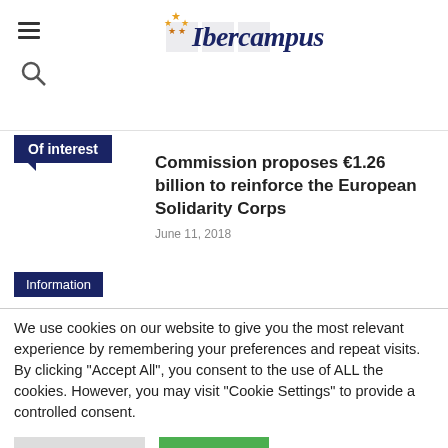[Figure (logo): Ibercampus logo with EU stars and stylized text in dark blue italic font]
Of interest
Commission proposes €1.26 billion to reinforce the European Solidarity Corps
June 11, 2018
Information
We use cookies on our website to give you the most relevant experience by remembering your preferences and repeat visits. By clicking "Accept All", you consent to the use of ALL the cookies. However, you may visit "Cookie Settings" to provide a controlled consent.